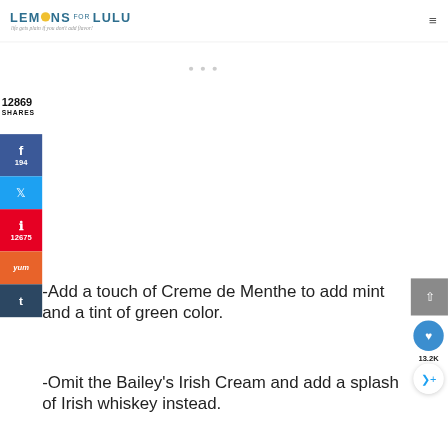LEMONS FOR LULU — life gets plain if you don't add flavor!
12869
SHARES
f 194
Twitter
Pinterest 12675
Yummly
Tumblr
-Add a touch of Creme de Menthe to add mint and a tint of green color.
-Omit the Bailey's Irish Cream and add a splash of Irish whiskey instead.